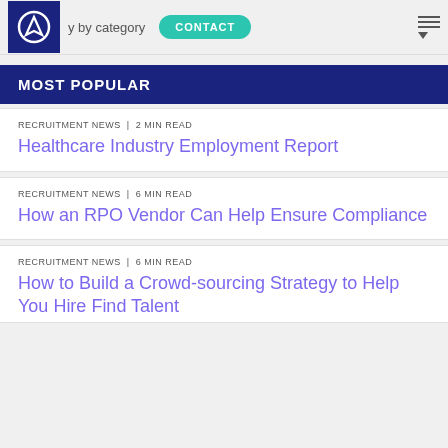by category | CONTACT
MOST POPULAR
RECRUITMENT NEWS | 2 MIN READ
Healthcare Industry Employment Report
RECRUITMENT NEWS | 6 MIN READ
How an RPO Vendor Can Help Ensure Compliance
RECRUITMENT NEWS | 6 MIN READ
How to Build a Crowd-sourcing Strategy to Help You Hire Find Talent